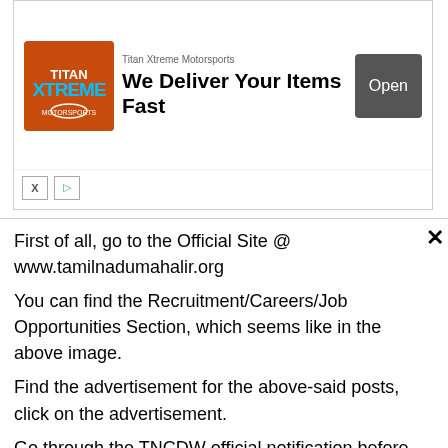[Figure (screenshot): Advertisement banner for Titan Xtreme Motorsports with logo, headline 'We Deliver Your Items Fast', and an Open button]
First of all, go to the Official Site @ www.tamilnadumahalir.org
You can find the Recruitment/Careers/Job Opportunities Section, which seems like in the above image.
Find the advertisement for the above-said posts, click on the advertisement.
Go through the TNCDW official notification before applying for a job.
As a result, you'll come to know which job is eligible.
Download the application form/fill up the online form correctly.
Recheck above all the details, that you have entered in the